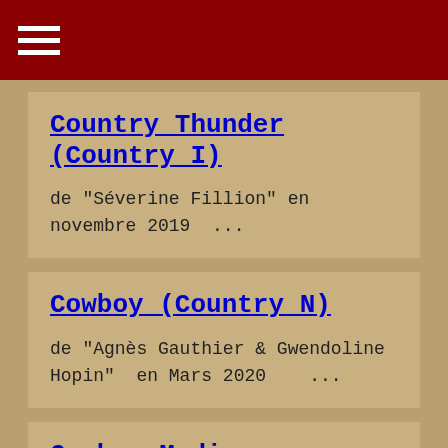Country Thunder (Country I)
de "Séverine Fillion" en novembre 2019  ...
Cowboy (Country N)
de "Agnès Gauthier & Gwendoline Hopin"  en Mars 2020    ...
Cowboy Madison (Country D)
de "David Linger" en 2002    ...